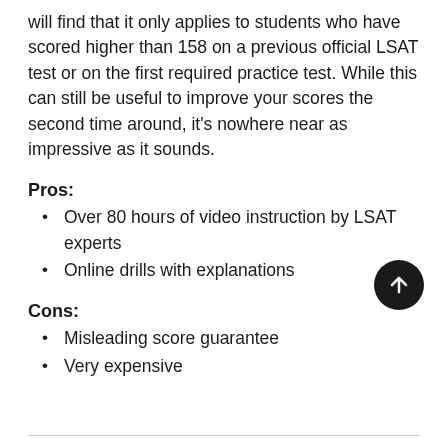will find that it only applies to students who have scored higher than 158 on a previous official LSAT test or on the first required practice test. While this can still be useful to improve your scores the second time around, it's nowhere near as impressive as it sounds.
Pros:
Over 80 hours of video instruction by LSAT experts
Online drills with explanations
Cons:
Misleading score guarantee
Very expensive